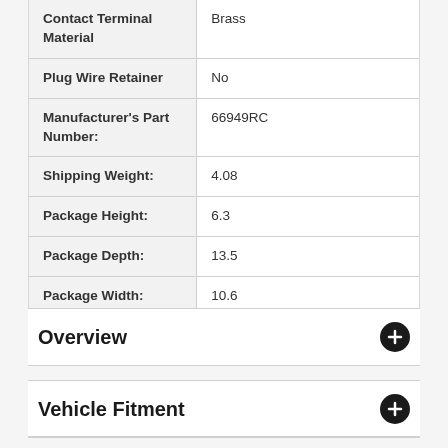| Property | Value |
| --- | --- |
| Contact Terminal Material | Brass |
| Plug Wire Retainer | No |
| Manufacturer's Part Number: | 66949RC |
| Shipping Weight: | 4.08 |
| Package Height: | 6.3 |
| Package Depth: | 13.5 |
| Package Width: | 10.6 |
Overview
Vehicle Fitment